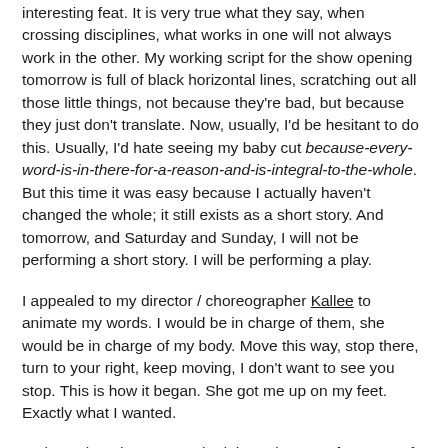interesting feat. It is very true what they say, when crossing disciplines, what works in one will not always work in the other. My working script for the show opening tomorrow is full of black horizontal lines, scratching out all those little things, not because they're bad, but because they just don't translate. Now, usually, I'd be hesitant to do this. Usually, I'd hate seeing my baby cut because-every-word-is-in-there-for-a-reason-and-is-integral-to-the-whole. But this time it was easy because I actually haven't changed the whole; it still exists as a short story. And tomorrow, and Saturday and Sunday, I will not be performing a short story. I will be performing a play.
I appealed to my director / choreographer Kallee to animate my words. I would be in charge of them, she would be in charge of my body. Move this way, stop there, turn to your right, keep moving, I don't want to see you stop. This is how it began. She got me up on my feet. Exactly what I wanted.
As it continued, as we worked through page after page of dense writing, of thick black slashes and puzzled over how to adapt narration, our roles blurred. No longer were we actor and director. Together we became devisors. Today and yesterday, specifically, I had flashbacks to my days at York University with my fellow Creative Ensemblers, puzzling over the texts we were given, the limitations we had to flourish within. We worked together to figure out how to animate something that was not, and will never be, theatre. We learnt how to work together. We learnt how to create something entirely new.
So. When totem. opens tomorrow, I will not be presenting my short-story to a theatre audience, even though I am endlessly proud of this specific short-